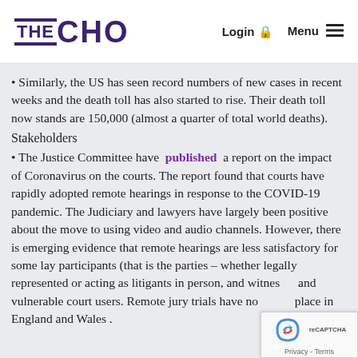THE CHO | Login | Menu
Similarly, the US has seen record numbers of new cases in recent weeks and the death toll has also started to rise. Their death toll now stands are 150,000 (almost a quarter of total world deaths).
Stakeholders
The Justice Committee have published a report on the impact of Coronavirus on the courts. The report found that courts have rapidly adopted remote hearings in response to the COVID-19 pandemic. The Judiciary and lawyers have largely been positive about the move to using video and audio channels. However, there is emerging evidence that remote hearings are less satisfactory for some lay participants (that is the parties – whether legally represented or acting as litigants in person, and witnesses and vulnerable court users. Remote jury trials have not taken place in England and Wales.